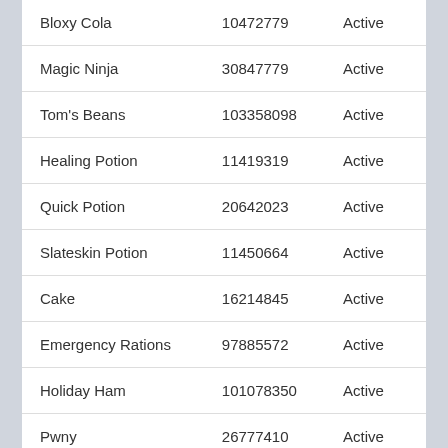| Bloxy Cola | 10472779 | Active |
| Magic Ninja | 30847779 | Active |
| Tom's Beans | 103358098 | Active |
| Healing Potion | 11419319 | Active |
| Quick Potion | 20642023 | Active |
| Slateskin Potion | 11450664 | Active |
| Cake | 16214845 | Active |
| Emergency Rations | 97885572 | Active |
| Holiday Ham | 101078350 | Active |
| Pwny | 26777410 | Active |